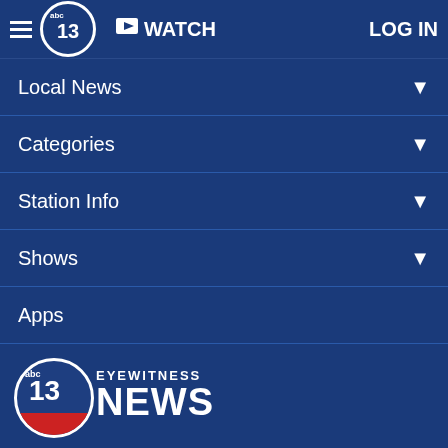WATCH  LOG IN
Local News
Categories
Station Info
Shows
Apps
[Figure (logo): ABC 13 Eyewitness News logo]
Follow Us:
Privacy Policy
Do Not Sell My Personal Information
Children's Privacy Policy
Your California Privacy Rights   Terms of Use